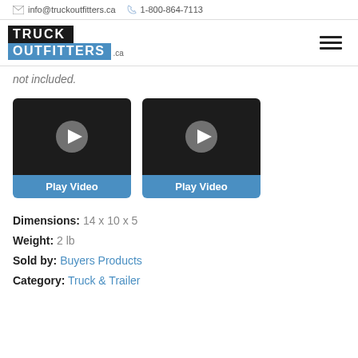info@truckoutfitters.ca  1-800-864-7113
[Figure (logo): Truck Outfitters .ca logo with hamburger menu icon]
not included.
[Figure (screenshot): Two video thumbnails with dark background and play button icons, each with a blue 'Play Video' label below]
Dimensions: 14 x 10 x 5
Weight: 2 lb
Sold by: Buyers Products
Category: Truck & Trailer